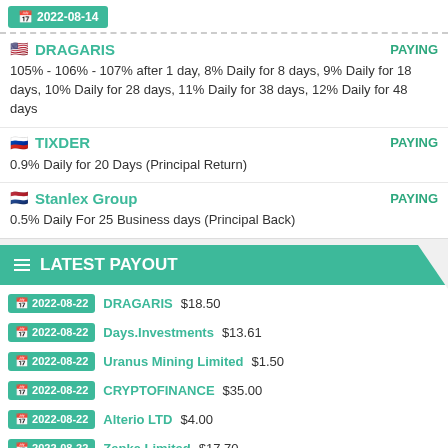2022-08-14
DRAGARIS | PAYING
105% - 106% - 107% after 1 day, 8% Daily for 8 days, 9% Daily for 18 days, 10% Daily for 28 days, 11% Daily for 38 days, 12% Daily for 48 days
TIXDER | PAYING
0.9% Daily for 20 Days (Principal Return)
Stanlex Group | PAYING
0.5% Daily For 25 Business days (Principal Back)
LATEST PAYOUT
2022-08-22 DRAGARIS $18.50
2022-08-22 Days.Investments $13.61
2022-08-22 Uranus Mining Limited $1.50
2022-08-22 CRYPTOFINANCE $35.00
2022-08-22 Alterio LTD $4.00
2022-08-22 Zepka Limited $17.70
2022-08-22 Medical Invest $6.22